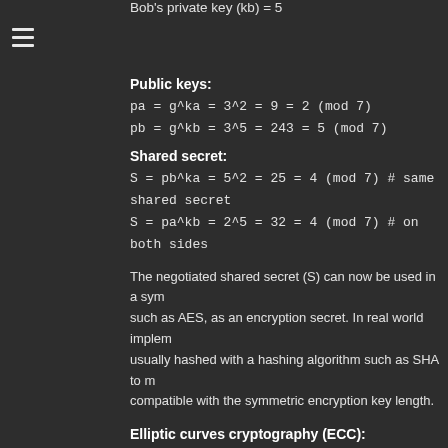Bob's private key (kb) = 5
Public keys:
Shared secret:
The negotiated shared secret (S) can now be used in a symmetric encryption algorithm such as AES, as an encryption secret. In real world implementations, it is usually hashed with a hashing algorithm such as SHA to make it compatible with the symmetric encryption key length.
Elliptic curves cryptography (ECC):
Disclaimer: the following is not a full introduction into ECC, and is written with much simplification. If you are interested, you can find many resources describing ECC in more detail, e.g. [2].